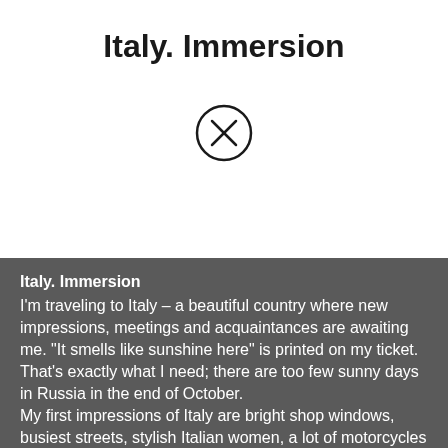Italy. Immersion
[Figure (illustration): Circle with X symbol (close/cancel icon)]
Italy. Immersion
I'm traveling to Italy – a beautiful country where new impressions, meetings and acquaintances are awaiting me. "It smells like sunshine here" is printed on my ticket. That's exactly what I need; there are too few sunny days in Russia in the end of October.
My first impressions of Italy are bright shop windows, busiest streets, stylish Italian women, a lot of motorcycles parked along narrow sidewalks. Italy under the clear skies, Italy with stone pines, fashionable Italy with many tourists and wine tasting festivals. Foggy Italy with vineyards to the horizon.
Gradually, the exaltation from the first impressions is replaced by a tranquil joy from the sights of ancient